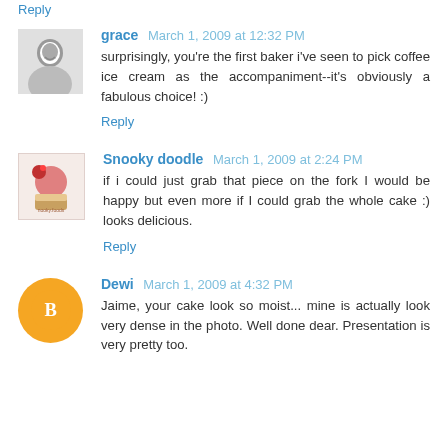Reply
grace  March 1, 2009 at 12:32 PM
surprisingly, you're the first baker i've seen to pick coffee ice cream as the accompaniment--it's obviously a fabulous choice! :)
Reply
Snooky doodle  March 1, 2009 at 2:24 PM
if i could just grab that piece on the fork I would be happy but even more if I could grab the whole cake :) looks delicious.
Reply
Dewi  March 1, 2009 at 4:32 PM
Jaime, your cake look so moist... mine is actually look very dense in the photo. Well done dear. Presentation is very pretty too.